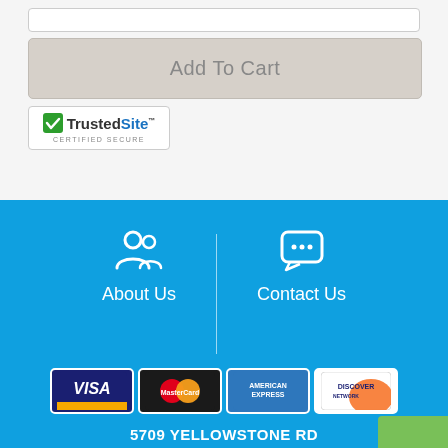[Figure (other): Add To Cart button (greyed out/disabled) on a product page]
[Figure (logo): TrustedSite Certified Secure badge with green checkmark]
[Figure (other): About Us icon (people silhouette) and Contact Us icon (chat bubble) navigation in blue footer]
[Figure (other): Payment method logos: Visa, MasterCard, American Express, Discover]
5709 YELLOWSTONE RD
CHEYENNE, WY, US 82009
Phone: (307) 637-7673 | Fax: (307) 778-2693
Toll Free: (800) 767-9176